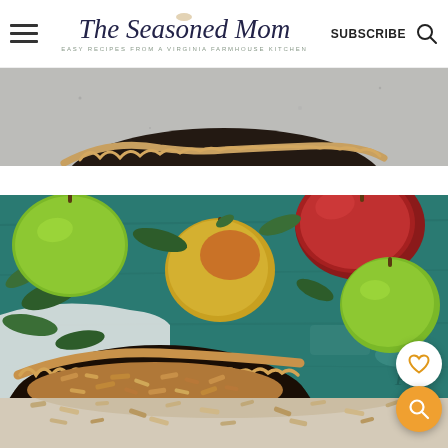The Seasoned Mom — EASY RECIPES FROM A VIRGINIA FARMHOUSE KITCHEN — SUBSCRIBE
[Figure (photo): Partial top-down view of a dark pie dish with crimped crust on a gray stone surface, partially visible at top of page]
[Figure (photo): Top-down view of multiple apples (green, red, and yellow-red) on a teal/turquoise distressed wooden surface with green leaves and an apple crumble pie in a dark pie dish in the lower portion of the image]
[Figure (photo): Partial close-up view of oat crumble topping, very light beige tones, bottom of page]